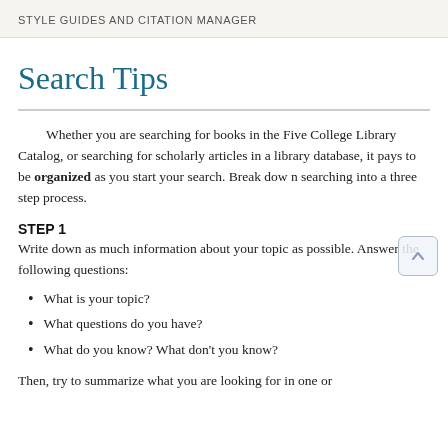STYLE GUIDES AND CITATION MANAGER
Search Tips
Whether you are searching for books in the Five College Library Catalog, or searching for scholarly articles in a library database, it pays to be organized as you start your search. Break dow n searching into a three step process.
STEP 1
Write down as much information about your topic as possible. Answer the following questions:
What is your topic?
What questions do you have?
What do you know? What don't you know?
Then, try to summarize what you are looking for in one or